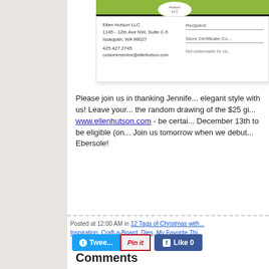[Figure (photo): Partial view of an Ellen Hutson LLC gift card showing address (1145 - 12th Ave NW, Suite C-5, Issaquah, WA 98027), phone (425.427.2745), email (customerservice@ellenhutson.com), and fields for Recipient and Store Certificate Code.]
Please join us in thanking Jennifer for sharing her elegant style with us! Leave your comment for the random drawing of the $25 gift certificate from www.ellenhutson.com - be certain to comment by December 13th to be eligible (one comment per day). Join us tomorrow when we debut a design by Lydia Ebersole!
Posted at 12:00 AM in 12 Tags of Christmas with Inspiration, Craft-a-Board, Dies, My Favorite Thi...
[Figure (infographic): Social sharing buttons: Tweet (Twitter), Pin it (Pinterest), Like 0 (Facebook)]
Comments